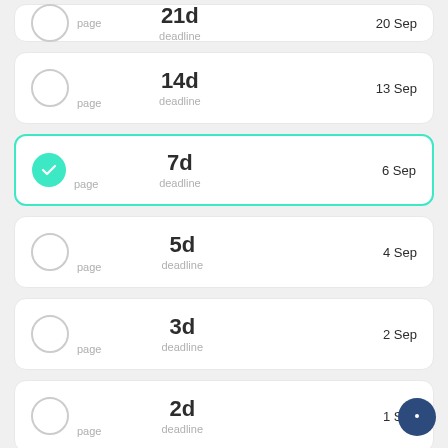page / 21d deadline / 20 Sep
page / 14d deadline / 13 Sep
page / 7d deadline / 6 Sep (selected)
page / 5d deadline / 4 Sep
page / 3d deadline / 2 Sep
page / 2d deadline / 1 Sep
page / 24h deadline / tomorrow at